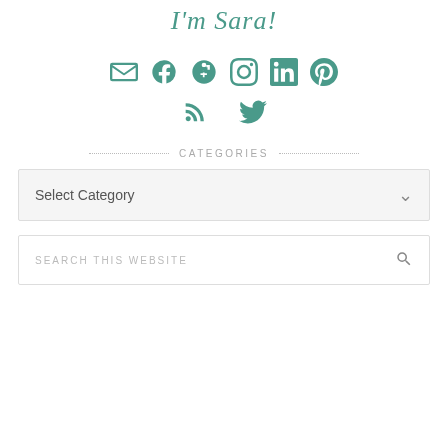I'm Sara!
[Figure (infographic): Row of social media icons in teal: email/envelope, Facebook, Google+, Instagram, LinkedIn, Pinterest, RSS feed, Twitter]
CATEGORIES
Select Category
SEARCH THIS WEBSITE